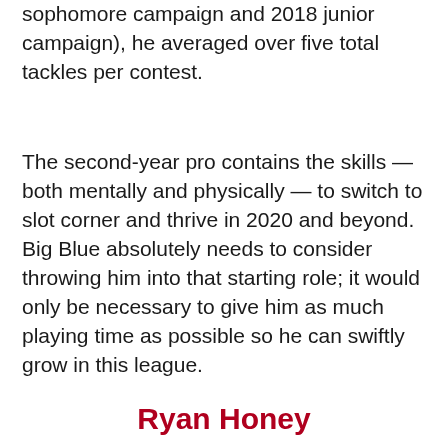sophomore campaign and 2018 junior campaign), he averaged over five total tackles per contest.
The second-year pro contains the skills — both mentally and physically — to switch to slot corner and thrive in 2020 and beyond. Big Blue absolutely needs to consider throwing him into that starting role; it would only be necessary to give him as much playing time as possible so he can swiftly grow in this league.
Ryan Honey